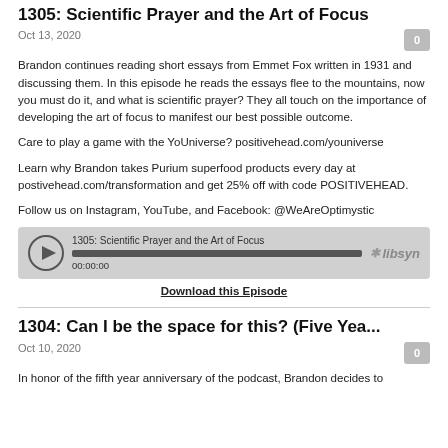1305: Scientific Prayer and the Art of Focus
Oct 13, 2020
Brandon continues reading short essays from Emmet Fox written in 1931 and discussing them. In this episode he reads the essays flee to the mountains, now you must do it, and what is scientific prayer? They all touch on the importance of developing the art of focus to manifest our best possible outcome.
Care to play a game with the YoUniverse? positivehead.com/youniverse
Learn why Brandon takes Purium superfood products every day at postivehead.com/transformation and get 25% off with code POSITIVEHEAD.
Follow us on Instagram, YouTube, and Facebook: @WeAreOptimystic
[Figure (other): Podcast audio player widget showing episode '1305: Scientific Prayer and the Art of Focus' with a play button, progress bar, timestamp 00:00:00, and libsyn logo]
Download this Episode
1304: Can I be the space for this? (Five Yea...
Oct 10, 2020
In honor of the fifth year anniversary of the podcast, Brandon decides to